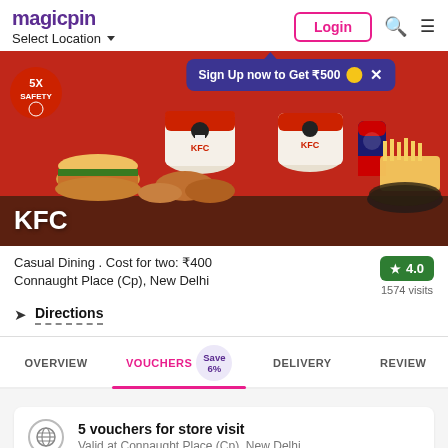magicpin | Select Location | Login
[Figure (photo): KFC restaurant banner with fried chicken buckets, burger, fries, and Pepsi on a red background. KFC label at bottom left.]
Sign Up now to Get ₹500
Casual Dining . Cost for two: ₹400
Connaught Place (Cp), New Delhi
★ 4.0
1574 visits
Directions
OVERVIEW   VOUCHERS Save 6%   DELIVERY   REVIEW
5 vouchers for store visit
Valid at Connaught Place (Cp), New Delhi